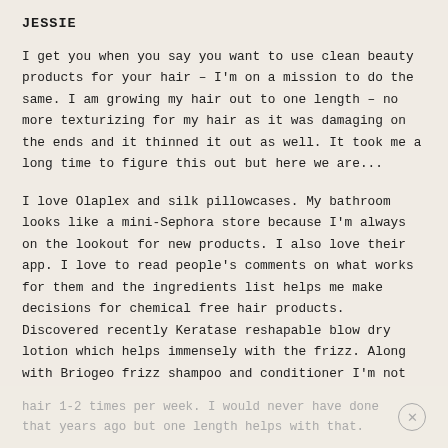JESSIE
I get you when you say you want to use clean beauty products for your hair – I'm on a mission to do the same. I am growing my hair out to one length – no more texturizing for my hair as it was damaging on the ends and it thinned it out as well. It took me a long time to figure this out but here we are...
I love Olaplex and silk pillowcases. My bathroom looks like a mini-Sephora store because I'm always on the lookout for new products. I also love their app. I love to read people's comments on what works for them and the ingredients list helps me make decisions for chemical free hair products. Discovered recently Keratase reshapable blow dry lotion which helps immensely with the frizz. Along with Briogeo frizz shampoo and conditioner I'm not ballooning as much! I also wash my
hair 1-2 times per week. I would never have done that years ago but one length helps with that.